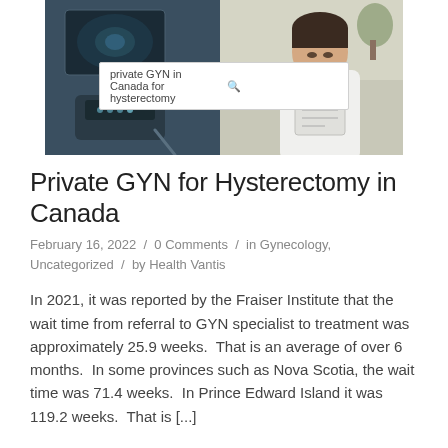[Figure (photo): Composite image showing medical ultrasound equipment on the left and a female doctor in a white coat on the right, with a search bar overlay reading 'private GYN in Canada for hysterectomy']
Private GYN for Hysterectomy in Canada
February 16, 2022 / 0 Comments / in Gynecology, Uncategorized / by Health Vantis
In 2021, it was reported by the Fraiser Institute that the wait time from referral to GYN specialist to treatment was approximately 25.9 weeks.  That is an average of over 6 months.  In some provinces such as Nova Scotia, the wait time was 71.4 weeks.  In Prince Edward Island it was 119.2 weeks.  That is [...]